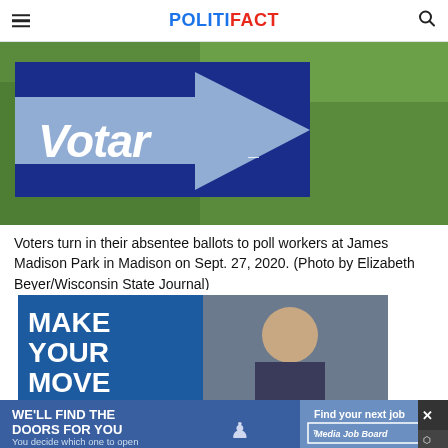POLITIFACT
[Figure (photo): A blue arrow-shaped sign in Spanish reading 'Votar' (Vote) pointing right, placed in green grass outdoors.]
Voters turn in their absentee ballots to poll workers at James Madison Park in Madison on Sept. 27, 2020. (Photo by Elizabeth Beyer/Wisconsin State Journal)
[Figure (photo): Advertisement: 'MAKE YOUR MOVE' banner with a person in a suit, and a bottom bar reading 'WE'LL FIND THE DOORS FOR YOU / You decide which one to open' next to a Media Job Board logo.]